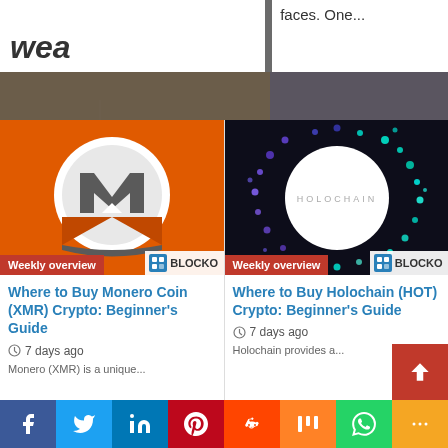faces. One...
[Figure (illustration): Monero (XMR) cryptocurrency logo on orange background with BLOCKON badge and Weekly overview label]
Weekly overview
[Figure (illustration): Holochain (HOT) cryptocurrency logo on dark background with colorful particle ring, BLOCKON badge and Weekly overview label]
Weekly overview
Where to Buy Monero Coin (XMR) Crypto: Beginner's Guide
7 days ago
Monero (XMR) is a unique...
Where to Buy Holochain (HOT) Crypto: Beginner's Guide
7 days ago
Holochain provides a...